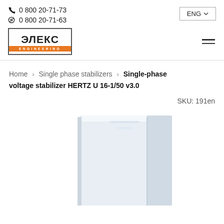0 800 20-71-73 | 0 800 20-71-63
[Figure (logo): Элекс Engineering logo with Cyrillic text and orange ENGINEERING label]
ENG
Home > Single phase stabilizers > Single-phase voltage stabilizer HERTZ U 16-1/50 v3.0
SKU: 191en
[Figure (photo): Single-phase voltage stabilizer HERTZ U 16-1/50 v3.0 product photo showing a tall white rectangular unit]